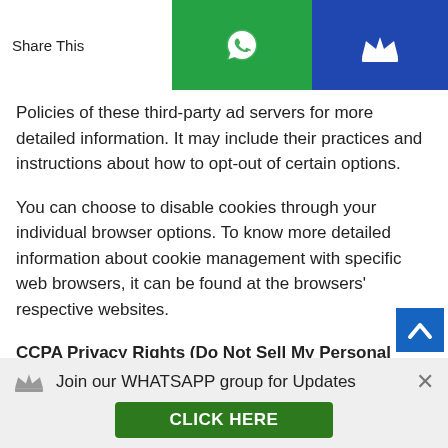Share This [WhatsApp button] [Crown button]
Policies of these third-party ad servers for more detailed information. It may include their practices and instructions about how to opt-out of certain options.
You can choose to disable cookies through your individual browser options. To know more detailed information about cookie management with specific web browsers, it can be found at the browsers' respective websites.
CCPA Privacy Rights (Do Not Sell My Personal
Join our WHATSAPP group for Updates CLICK HERE